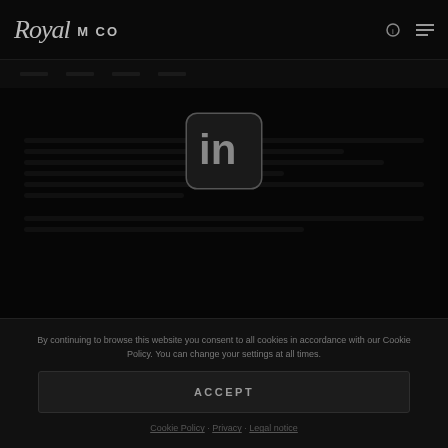Royal m co
[Figure (logo): LinkedIn icon — square with rounded corners containing 'in' text]
Cookies help us deliver the best possible service to our users. By using our site, you consent to our use of cookies.
ACCEPT
Cookie Policy · Privacy · Legal notice